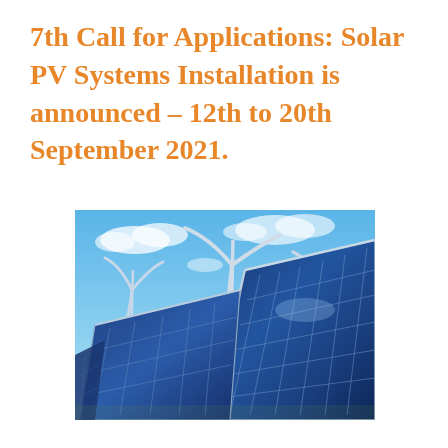7th Call for Applications: Solar PV Systems Installation is announced – 12th to 20th September 2021.
[Figure (photo): Photograph of solar PV panels in the foreground with wind turbines in the background against a blue sky with clouds.]